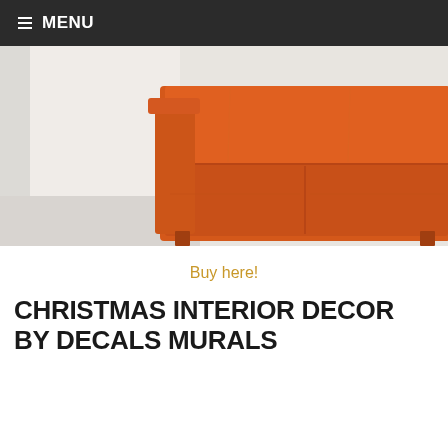☰ MENU
[Figure (photo): Close-up photo of an orange fabric sofa/couch against a white wall background]
Buy here!
CHRISTMAS INTERIOR DECOR BY DECALS MURALS